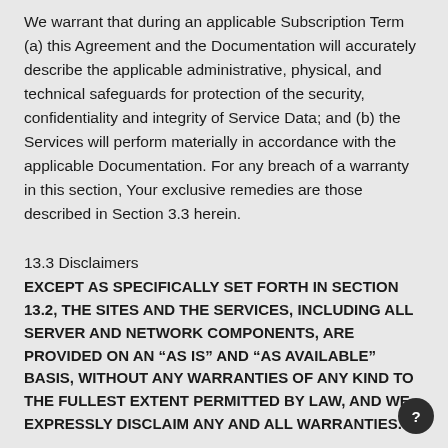We warrant that during an applicable Subscription Term (a) this Agreement and the Documentation will accurately describe the applicable administrative, physical, and technical safeguards for protection of the security, confidentiality and integrity of Service Data; and (b) the Services will perform materially in accordance with the applicable Documentation. For any breach of a warranty in this section, Your exclusive remedies are those described in Section 3.3 herein.
13.3 Disclaimers
EXCEPT AS SPECIFICALLY SET FORTH IN SECTION 13.2, THE SITES AND THE SERVICES, INCLUDING ALL SERVER AND NETWORK COMPONENTS, ARE PROVIDED ON AN “AS IS” AND “AS AVAILABLE” BASIS, WITHOUT ANY WARRANTIES OF ANY KIND TO THE FULLEST EXTENT PERMITTED BY LAW, AND WE EXPRESSLY DISCLAIM ANY AND ALL WARRANTIES.